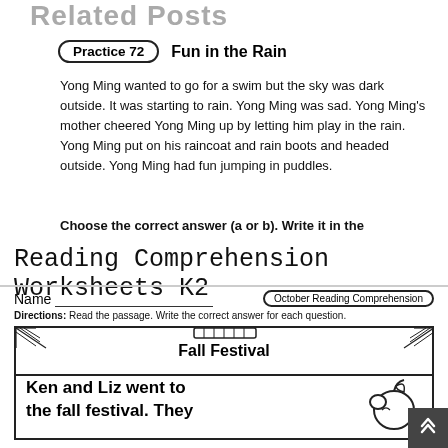Related Posts
Practice 72   Fun in the Rain
Yong Ming wanted to go for a swim but the sky was dark outside. It was starting to rain. Yong Ming was sad. Yong Ming's mother cheered Yong Ming up by letting him play in the rain. Yong Ming put on his raincoat and rain boots and headed outside. Yong Ming had fun jumping in puddles.
Choose the correct answer (a or b). Write it in the
Reading Comprehension Worksheets K2
Name___________________________   October Reading Comprehension
Directions: Read the passage. Write the correct answer for each question.
[Figure (illustration): Decorative banner border with triangular corner decorations and a roller/handle decoration at top center. Contains the title 'Fall Festival' and a sub-box with bold text 'Ken and Liz went to the fall festival. They' alongside a drawing of an apple.]